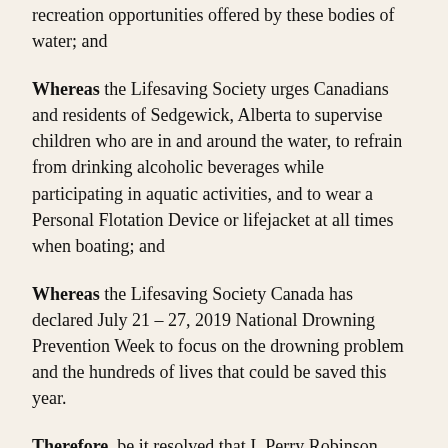recreation opportunities offered by these bodies of water; and
Whereas the Lifesaving Society urges Canadians and residents of Sedgewick, Alberta to supervise children who are in and around the water, to refrain from drinking alcoholic beverages while participating in aquatic activities, and to wear a Personal Flotation Device or lifejacket at all times when boating; and
Whereas the Lifesaving Society Canada has declared July 21 – 27, 2019 National Drowning Prevention Week to focus on the drowning problem and the hundreds of lives that could be saved this year.
Therefore, be it resolved that I, Perry Robinson, Mayor, do hereby proclaim July 21 – 27, 2019 National Drowning Prevention Week in Sedgewick, Alberta and do commend its thoughtful recognition to all citizens of our